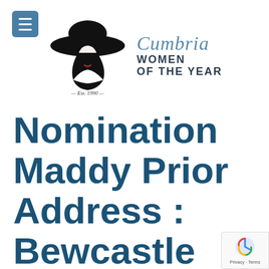[Figure (logo): Cumbria Women of the Year logo with stylized woman in wide-brim hat illustration and script/serif text]
Nomination Maddy Prior Address : Bewcastle (will find out full address/contact fro someone!) Postcode :